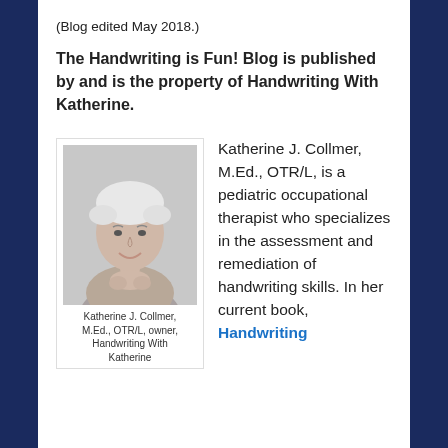(Blog edited May 2018.)
The Handwriting is Fun! Blog is published by and is the property of Handwriting With Katherine.
[Figure (photo): Black and white portrait photo of Katherine J. Collmer, a woman with short white/grey hair, smiling with hands clasped together.]
Katherine J. Collmer, M.Ed., OTR/L, owner, Handwriting With Katherine
Katherine J. Collmer, M.Ed., OTR/L, is a pediatric occupational therapist who specializes in the assessment and remediation of handwriting skills. In her current book, Handwriting
Handwriting